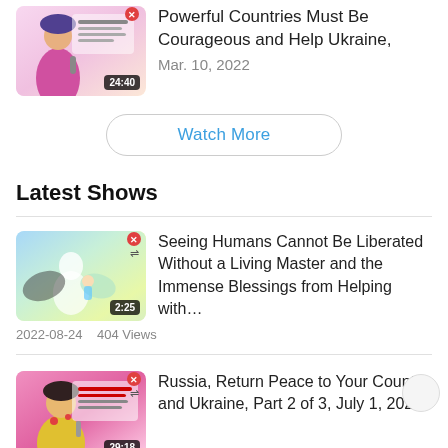Powerful Countries Must Be Courageous and Help Ukraine, Mar. 10, 2022
Watch More
Latest Shows
Seeing Humans Cannot Be Liberated Without a Living Master and the Immense Blessings from Helping with…
2022-08-24   404 Views
Russia, Return Peace to Your Country and Ukraine, Part 2 of 3, July 1, 2022